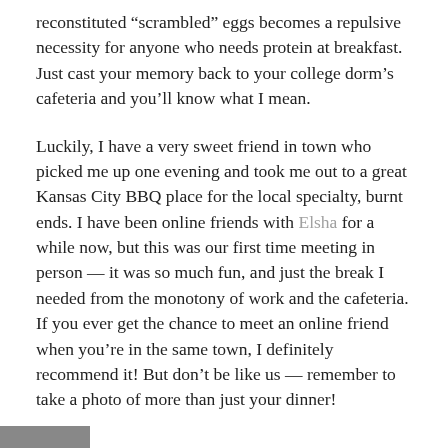reconstituted “scrambled” eggs becomes a repulsive necessity for anyone who needs protein at breakfast. Just cast your memory back to your college dorm’s cafeteria and you’ll know what I mean.
Luckily, I have a very sweet friend in town who picked me up one evening and took me out to a great Kansas City BBQ place for the local specialty, burnt ends. I have been online friends with Elsha for a while now, but this was our first time meeting in person — it was so much fun, and just the break I needed from the monotony of work and the cafeteria. If you ever get the chance to meet an online friend when you’re in the same town, I definitely recommend it! But don’t be like us — remember to take a photo of more than just your dinner!